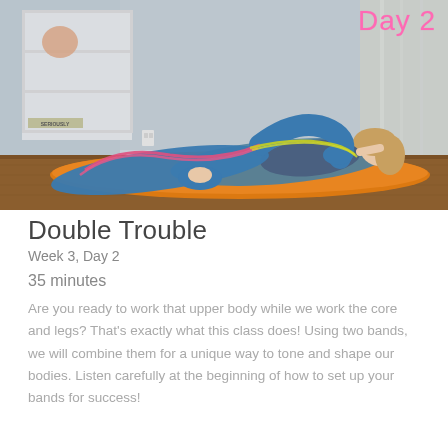[Figure (photo): A woman lying on an orange yoga mat on a wooden floor, performing a resistance band exercise using two bands (one pink, one yellow-green), wearing blue leggings and a dark top. Room has white shelves in the background. 'Day 2' text appears in pink in the upper right corner.]
Double Trouble
Week 3, Day 2
35 minutes
Are you ready to work that upper body while we work the core and legs? That's exactly what this class does! Using two bands, we will combine them for a unique way to tone and shape our bodies. Listen carefully at the beginning of how to set up your bands for success!